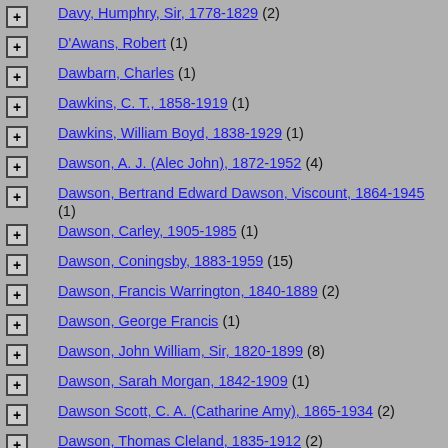Davy, Humphry, Sir, 1778-1829 (2)
D'Awans, Robert (1)
Dawbarn, Charles (1)
Dawkins, C. T., 1858-1919 (1)
Dawkins, William Boyd, 1838-1929 (1)
Dawson, A. J. (Alec John), 1872-1952 (4)
Dawson, Bertrand Edward Dawson, Viscount, 1864-1945 (1)
Dawson, Carley, 1905-1985 (1)
Dawson, Coningsby, 1883-1959 (15)
Dawson, Francis Warrington, 1840-1889 (2)
Dawson, George Francis (1)
Dawson, John William, Sir, 1820-1899 (8)
Dawson, Sarah Morgan, 1842-1909 (1)
Dawson Scott, C. A. (Catharine Amy), 1865-1934 (2)
Dawson, Thomas Cleland, 1835-1912 (2)
Dawson, W. F. (William Francis) (1)